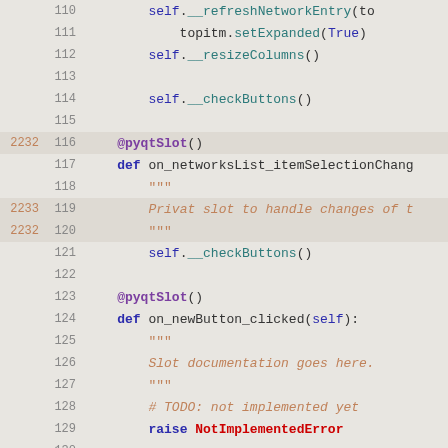[Figure (screenshot): Python source code editor showing lines 110-139, with line numbers, outer coverage markers (2232, 2233), syntax highlighting in Courier monospace font on a light gray background. Code includes pyqtSlot decorators, method definitions, docstrings, and raise statements.]